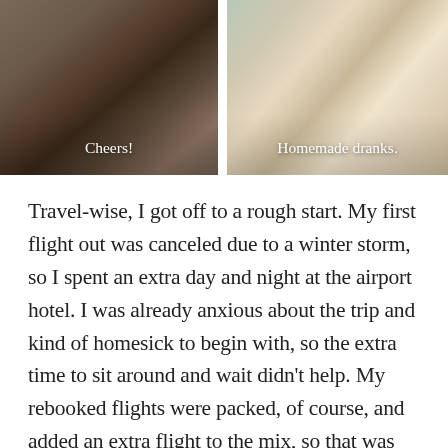[Figure (photo): Two side-by-side photos of people in a kitchen. Left photo captioned 'Cheers!', right photo captioned 'Homemade dranks.']
Travel-wise, I got off to a rough start. My first flight out was canceled due to a winter storm, so I spent an extra day and night at the airport hotel. I was already anxious about the trip and kind of homesick to begin with, so the extra time to sit around and wait didn't help. My rebooked flights were packed, of course, and added an extra flight to the mix, so that was frustrating.